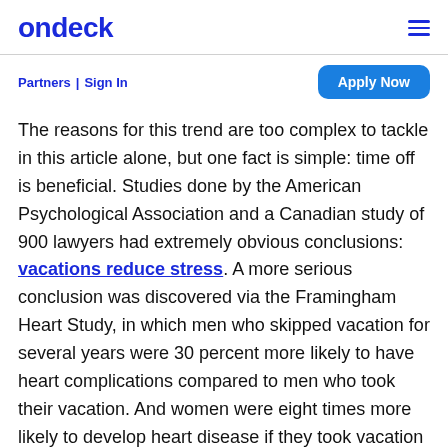ondeck
Partners | Sign In
Apply Now
The reasons for this trend are too complex to tackle in this article alone, but one fact is simple: time off is beneficial. Studies done by the American Psychological Association and a Canadian study of 900 lawyers had extremely obvious conclusions: vacations reduce stress. A more serious conclusion was discovered via the Framingham Heart Study, in which men who skipped vacation for several years were 30 percent more likely to have heart complications compared to men who took their vacation. And women were eight times more likely to develop heart disease if they took vacation every six years instead of twice a year.